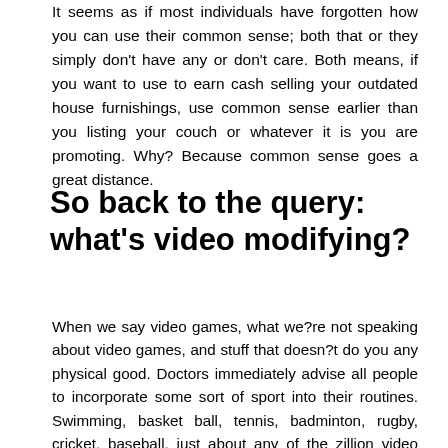It seems as if most individuals have forgotten how you can use their common sense; both that or they simply don't have any or don't care. Both means, if you want to use to earn cash selling your outdated house furnishings, use common sense earlier than you listing your couch or whatever it is you are promoting. Why? Because common sense goes a great distance.
So back to the query: what's video modifying?
When we say video games, what we?re not speaking about video games, and stuff that doesn?t do you any physical good. Doctors immediately advise all people to incorporate some sort of sport into their routines. Swimming, basket ball, tennis, badminton, rugby, cricket, baseball, just about any of the zillion video games when a part of you, can do you eons of excellent. You don?t